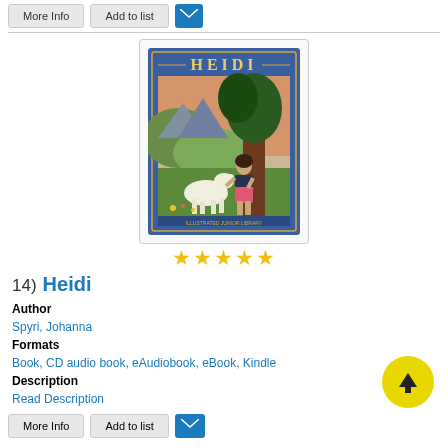[Figure (illustration): Book cover of Heidi showing a girl with a goat near a tree, blue cover with gold text reading HEIDI]
★★★★★
14)  Heidi
Author
Spyri, Johanna
Formats
Book, CD audio book, eAudiobook, eBook, Kindle
Description
Read Description
More Info    Add to list